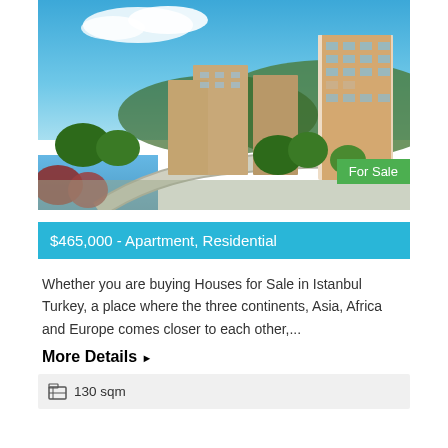[Figure (photo): Aerial rendering of a modern residential apartment complex with multiple high-rise buildings surrounded by trees and water, against a blue sky with clouds. A green 'For Sale' badge is overlaid in the bottom right corner.]
$465,000 - Apartment, Residential
Whether you are buying Houses for Sale in Istanbul Turkey, a place where the three continents, Asia, Africa and Europe comes closer to each other,...
More Details ▶
130 sqm